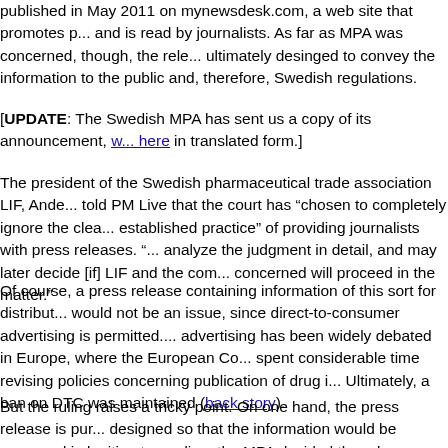published in May 2011 on mynewsdesk.com, a web site that promotes p... and is read by journalists. As far as MPA was concerned, though, the rele... ultimately desinged to convey the information to the public and, therefore... Swedish regulations.
[UPDATE: The Swedish MPA has sent us a copy of its announcement, w... here in translated form.]
The president of the Swedish pharmaceutical trade association LIF, Ande... told PM Live that the court has “chosen to completely ignore the clea... established practice” of providing journalists with press releases. “... analyze the judgment in detail, and may later decide [if] LIF and the com... concerned will proceed in the matter.”
Of course, a press release containing information of this sort for distribut... would not be an issue, since direct-to-consumer advertising is permitted.... advertising has been widely debated in Europe, where the European Co... spent considerable time revising policies concerning publication of drug i... Ultimately, a ban on DTC was maintained (back story).
But the ruling raises a tricky point. On one hand, the press release is pur... designed so that the information would be conveyed in legitimate media... the MPA decided the release was mere window dressing. Theoretically, t...